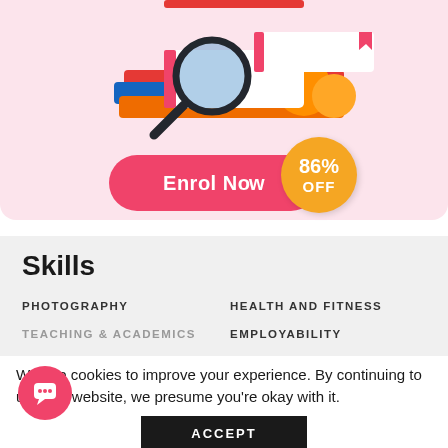[Figure (illustration): Illustrated books and magnifying glass on a pink background, part of an online learning course card]
[Figure (infographic): Pink 'Enrol Now' button with a yellow circular sticker showing '86% OFF' discount badge]
Skills
PHOTOGRAPHY
HEALTH AND FITNESS
EMPLOYABILITY
TEACHING & ACADEMICS
We use cookies to improve your experience. By continuing to use this website, we presume you're okay with it.
ACCEPT